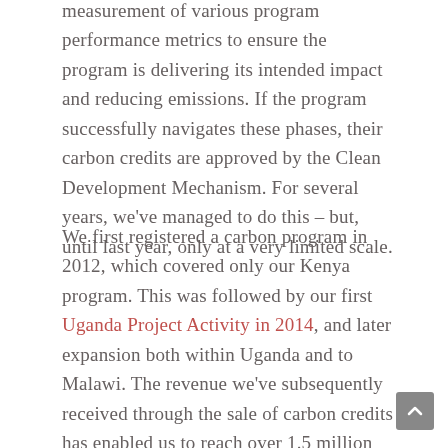measurement of various program performance metrics to ensure the program is delivering its intended impact and reducing emissions. If the program successfully navigates these phases, their carbon credits are approved by the Clean Development Mechanism. For several years, we've managed to do this – but, until last year, only at a very limited scale.
We first registered a carbon program in 2012, which covered only our Kenya program. This was followed by our first Uganda Project Activity in 2014, and later expansion both within Uganda and to Malawi. The revenue we've subsequently received through the sale of carbon credits has enabled us to reach over 1.5 million people, across all three countries, with safe water. Last year, the UNFCCC's Clean